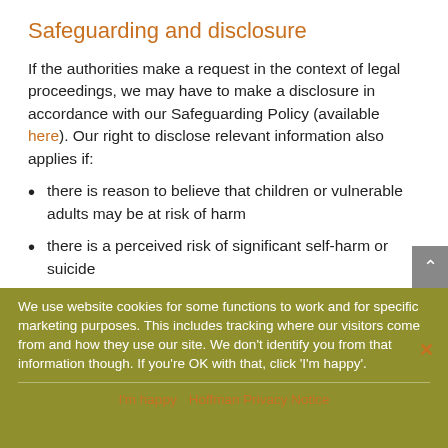Safeguarding and disclosure
If the authorities make a request in the context of legal proceedings, we may have to make a disclosure in accordance with our Safeguarding Policy (available here). Our right to disclose relevant information also applies if:
there is reason to believe that children or vulnerable adults may be at risk of harm
there is a perceived risk of significant self-harm or suicide
we are made aware of matters relating to an act of terrorism
we are made aware of activities covered by the drug trafficking act 1994
We use website cookies for some functions to work and for specific marketing purposes. This includes tracking where our visitors come from and how they use our site. We don't identify you from that information though. If you're OK with that, click 'I'm happy'.
RESIDENTIAL WORKSHOP GROUND RULES